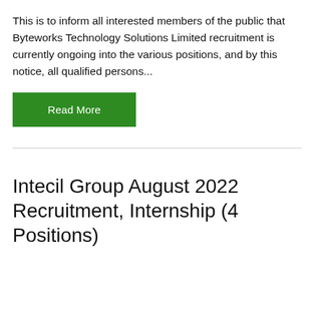This is to inform all interested members of the public that Byteworks Technology Solutions Limited recruitment is currently ongoing into the various positions, and by this notice, all qualified persons...
Read More
Intecil Group August 2022 Recruitment, Internship (4 Positions)